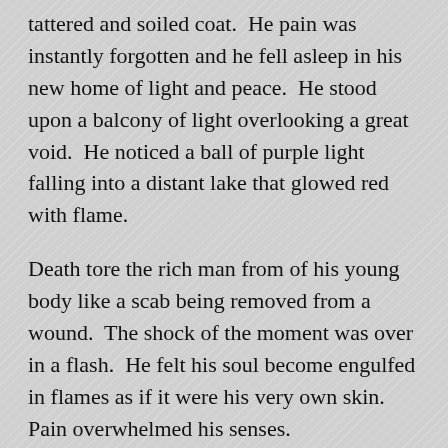tattered and soiled coat.  He pain was instantly forgotten and he fell asleep in his new home of light and peace.  He stood upon a balcony of light overlooking a great void.  He noticed a ball of purple light falling into a distant lake that glowed red with flame.
Death tore the rich man from of his young body like a scab being removed from a wound.  The shock of the moment was over in a flash.  He felt his soul become engulfed in flames as if it were his very own skin.  Pain overwhelmed his senses.